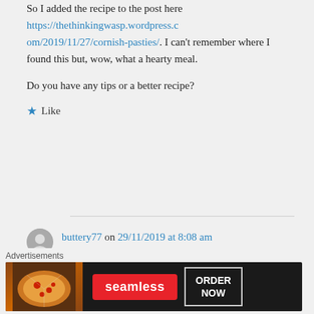So I added the recipe to the post here https://thethinkingwasp.wordpress.com/2019/11/27/cornish-pasties/. I can't remember where I found this but, wow, what a hearty meal.

Do you have any tips or a better recipe?
★ Like
buttery77 on 29/11/2019 at 8:08 am
[Figure (screenshot): Seamless food delivery advertisement banner showing pizza image, red Seamless logo pill, and ORDER NOW button on dark background]
Advertisements